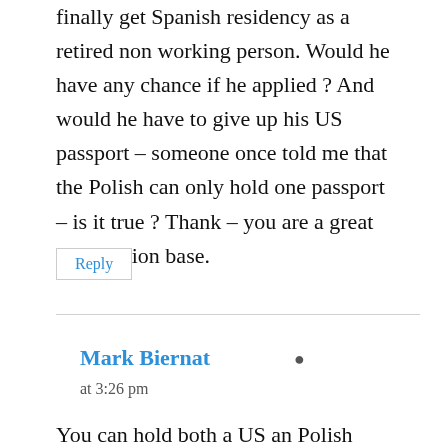finally get Spanish residency as a retired non working person. Would he have any chance if he applied ? And would he have to give up his US passport – someone once told me that the Polish can only hold one passport – is it true ? Thank – you are a great information base.
Reply
Mark Biernat
at 3:26 pm
You can hold both a US an Polish passport not problem. I do as does my daughter. Here is the thing. Your boyfriend can not get Polish